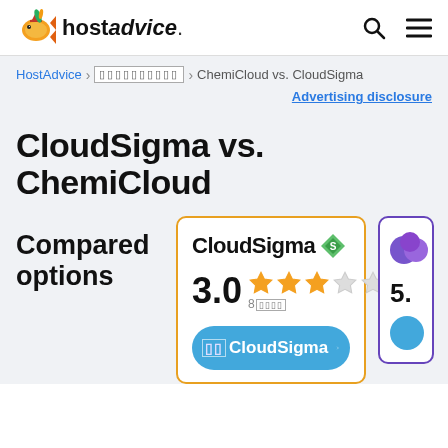hostadvice.
HostAdvice > [encoded] > ChemiCloud vs. CloudSigma
Advertising disclosure
CloudSigma vs. ChemiCloud
Compared options
[Figure (screenshot): CloudSigma hosting card with 3.0 star rating (3 filled stars out of 5), 8 reviews count, and a blue 'Visit CloudSigma' button]
[Figure (screenshot): Partial ChemiCloud card showing purple logo and rating starting with 5.]